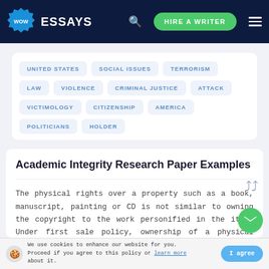WOW ESSAYS — HIRE A WRITER
UNITED STATES
SOCIAL ISSUES
TERRORISM
LAW
VIOLENCE
CRIMINAL JUSTICE
ATTACK
VICTIMOLOGY
CITIZENSHIP
AMERICA
POLITICIANS
HOLDER
Academic Integrity Research Paper Examples
The physical rights over a property such as a book, manuscript, painting or CD is not similar to owning the copyright to the work personified in the item. Under first sale policy, ownership of a physical copy of a material that has been protected by copyright per
We use cookies to enhance our website for you. Proceed if you agree to this policy or learn more about it.